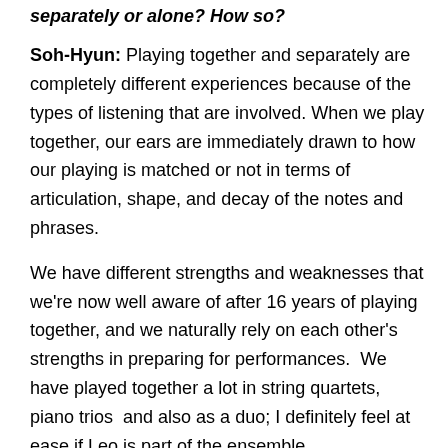separately or alone? How so?
Soh-Hyun: Playing together and separately are completely different experiences because of the types of listening that are involved. When we play together, our ears are immediately drawn to how our playing is matched or not in terms of articulation, shape, and decay of the notes and phrases.
We have different strengths and weaknesses that we're now well aware of after 16 years of playing together, and we naturally rely on each other's strengths in preparing for performances.  We have played together a lot in string quartets, piano trios  and also as a duo; I definitely feel at ease if Leo is part of the ensemble.
Leo: Absolutely! Allow me to explain it this way. Preparing for a concert is much like preparing a great meal. There